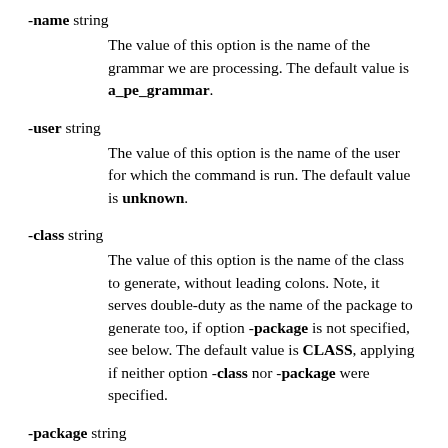-name string

The value of this option is the name of the grammar we are processing. The default value is a_pe_grammar.
-user string

The value of this option is the name of the user for which the command is run. The default value is unknown.
-class string

The value of this option is the name of the class to generate, without leading colons. Note, it serves double-duty as the name of the package to generate too, if option -package is not specified, see below. The default value is CLASS, applying if neither option -class nor -package were specified.
-package string